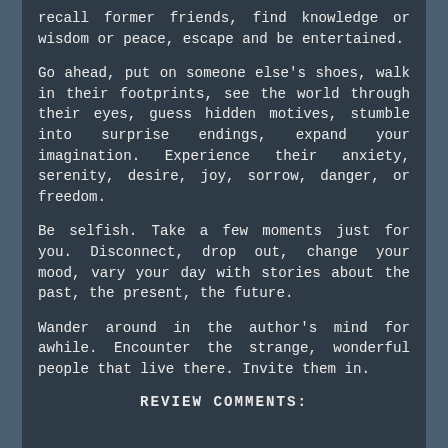recall former friends, find knowledge or wisdom or peace, escape and be entertained.
Go ahead, put on someone else's shoes, walk in their footprints, see the world through their eyes, guess hidden motives, stumble into surprise endings, expand your imagination. Experience their anxiety, serenity, desire, joy, sorrow, danger, or freedom.
Be selfish. Take a few moments just for you. Disconnect, drop out, change your mood, vary your day with stories about the past, the present, the future.
Wander around in the author's mind for awhile. Encounter the strange, wonderful people that live there. Invite them in.
REVIEW COMMENTS: